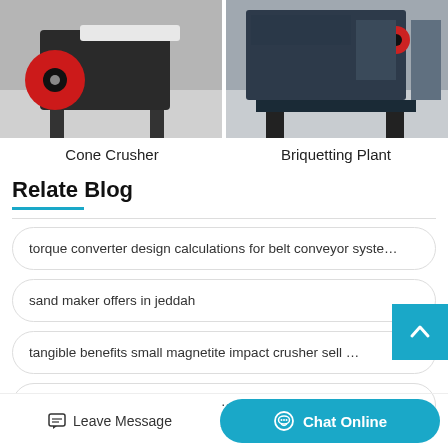[Figure (photo): Two industrial machines side by side: left is a Cone Crusher (red and black), right is a Briquetting Plant (dark blue/grey).]
Cone Crusher
Briquetting Plant
Relate Blog
torque converter design calculations for belt conveyor syste…
sand maker offers in jeddah
tangible benefits small magnetite impact crusher sell at a lo…
manufacturers and exporters of…
Leave Message
Chat Online